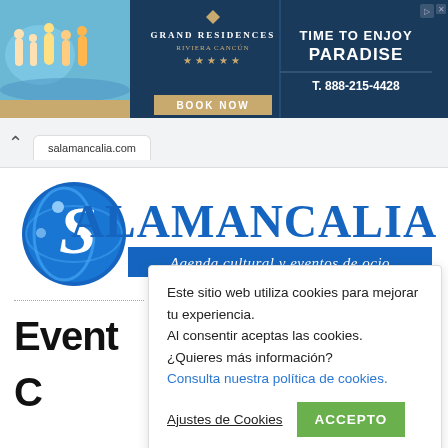[Figure (photo): Grand Residences hotel advertisement banner with beach family photo, five stars, Book Now button, TIME TO ENJOY PARADISE text, and phone number T. 888-215-4428]
[Figure (logo): Salamancalia logo — globe with S letter, blue text SALAMANCALIA, tagline Agenda cultural y eventos de ocio]
Este sitio web utiliza cookies para mejorar tu experiencia.
Al consentir aceptas las cookies.
¿Quieres más información?
Consulta nuestra política de cookies.
Ajustes de Cookies
ACCEPTO
Event
C